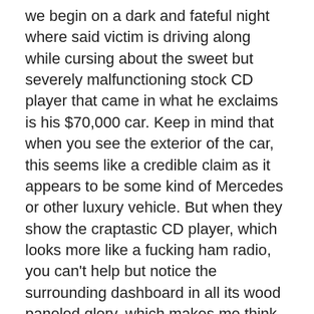we begin on a dark and fateful night where said victim is driving along while cursing about the sweet but severely malfunctioning stock CD player that came in what he exclaims is his $70,000 car. Keep in mind that when you see the exterior of the car, this seems like a credible claim as it appears to be some kind of Mercedes or other luxury vehicle. But when they show the craptastic CD player, which looks more like a fucking ham radio, you can't help but notice the surrounding dashboard in all its wood paneled glory, which makes me think that this can't be the same car on the inside as it is on the outside. And if that's the case, then I hate to bust it to this guy, but the pine condom clad Chrysler Le Baron that he's rolling in wouldn't be worth $70,000 if it had a stripper dispenser in the trunk. But before the